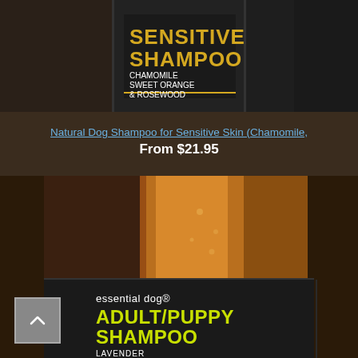[Figure (photo): Close-up of a dark/black shampoo bottle label reading SENSITIVE SHAMPOO in gold text, with CHAMOMILE SWEET ORANGE & ROSEWOOD in white text. Essential dog brand product.]
Natural Dog Shampoo for Sensitive Skin (Chamomile,
From $21.95
[Figure (photo): Close-up of an amber/orange liquid shampoo bottle with a dark label reading 'essential dog' brand name, and ADULT/PUPPY SHAMPOO in lime/yellow-green text, with LAVENDER partially visible at bottom.]